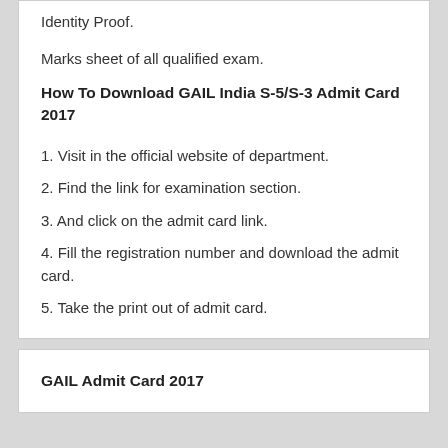Identity Proof.
Marks sheet of all qualified exam.
How To Download GAIL India S-5/S-3 Admit Card 2017
1. Visit in the official website of department.
2. Find the link for examination section.
3. And click on the admit card link.
4. Fill the registration number and download the admit card.
5. Take the print out of admit card.
GAIL Admit Card 2017